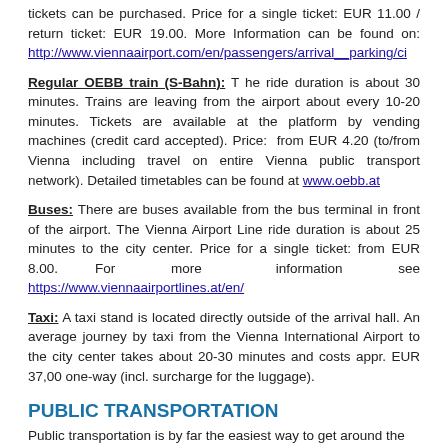tickets can be purchased. Price for a single ticket: EUR 11.00 / return ticket: EUR 19.00. More Information can be found on: http://www.viennaairport.com/en/passengers/arrival_parking/ci
Regular OEBB train (S-Bahn): T he ride duration is about 30 minutes. Trains are leaving from the airport about every 10-20 minutes. Tickets are available at the platform by vending machines (credit card accepted). Price: from EUR 4.20 (to/from Vienna including travel on entire Vienna public transport network). Detailed timetables can be found at www.oebb.at
Buses: There are buses available from the bus terminal in front of the airport. The Vienna Airport Line ride duration is about 25 minutes to the city center. Price for a single ticket: from EUR 8.00. For more information see https://www.viennaairportlines.at/en/
Taxi: A taxi stand is located directly outside of the arrival hall. An average journey by taxi from the Vienna International Airport to the city center takes about 20-30 minutes and costs appr. EUR 37,00 one-way (incl. surcharge for the luggage).
PUBLIC TRANSPORTATION
Public transportation is by far the easiest way to get around the